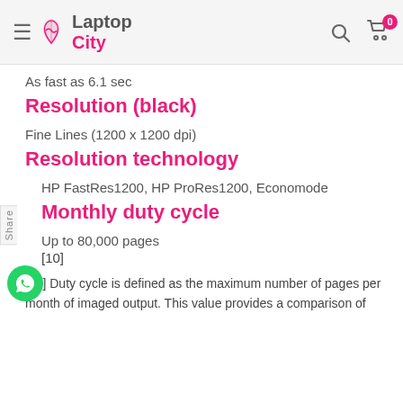[Figure (logo): Laptop City logo with hamburger menu icon on left and search/cart icons on right in a gray header bar]
As fast as 6.1 sec
Resolution (black)
Fine Lines (1200 x 1200 dpi)
Resolution technology
HP FastRes1200, HP ProRes1200, Economode
Monthly duty cycle
Up to 80,000 pages
[10]
[10] Duty cycle is defined as the maximum number of pages per month of imaged output. This value provides a comparison of